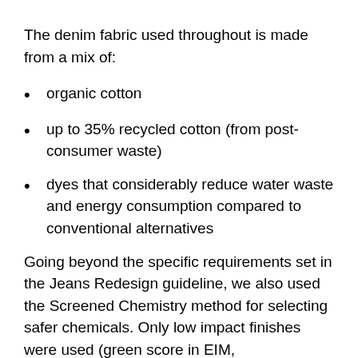The denim fabric used throughout is made from a mix of:
organic cotton
up to 35% recycled cotton (from post-consumer waste)
dyes that considerably reduce water waste and energy consumption compared to conventional alternatives
Going beyond the specific requirements set in the Jeans Redesign guideline, we also used the Screened Chemistry method for selecting safer chemicals. Only low impact finishes were used (green score in EIM,